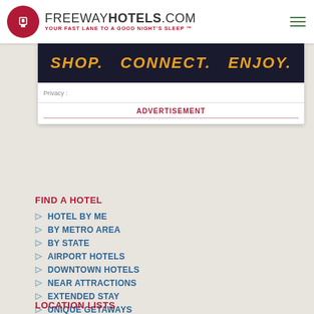FREEWAYHOTELS.COM — YOUR FAST LANE TO A GOOD NIGHT'S SLEEP™
[Figure (infographic): Advertisement banner with text SHOP. CONNECT. ENJOY. in orange on dark background, with Privacy label and ADVERTISEMENT label below]
FIND A HOTEL
HOTEL BY ME
BY METRO AREA
BY STATE
AIRPORT HOTELS
DOWNTOWN HOTELS
NEAR ATTRACTIONS
EXTENDED STAY
UNIQUE GETAWAYS
LOCATION LISTS